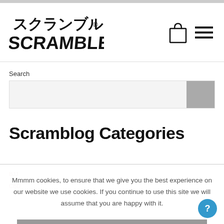[Figure (logo): Scramble brand logo with Japanese characters and 'SCRAMBLE' text in bold stylized font]
Search
Scramblog Categories
Mmmm cookies, to ensure that we give you the best experience on our website we use cookies. If you continue to use this site we will assume that you are happy with it.
OK